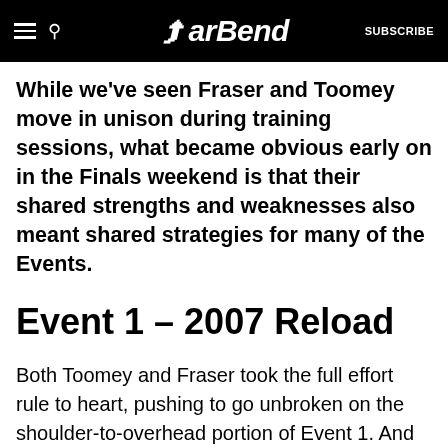BarBend — SUBSCRIBE
While we've seen Fraser and Toomey move in unison during training sessions, what became obvious early on in the Finals weekend is that their shared strengths and weaknesses also meant shared strategies for many of the Events.
Event 1 – 2007 Reload
Both Toomey and Fraser took the full effort rule to heart, pushing to go unbroken on the shoulder-to-overhead portion of Event 1. And